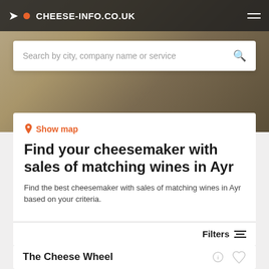CHEESE-INFO.CO.UK
Search by city, company name or service
Show map
Find your cheesemaker with sales of matching wines in Ayr
Find the best cheesemaker with sales of matching wines in Ayr based on your criteria.
Filters
The Cheese Wheel